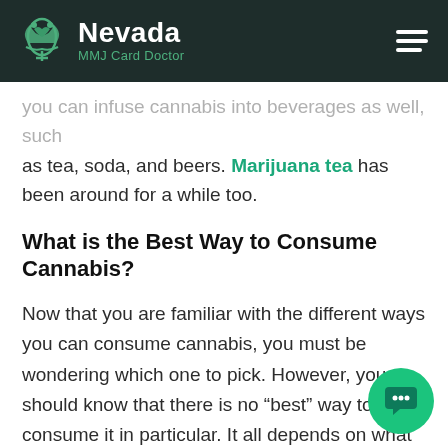Nevada MMJ Card Doctor
you can infuse cannabis into beverages as well, such as tea, soda, and beers. Marijuana tea has been around for a while too.
What is the Best Way to Consume Cannabis?
Now that you are familiar with the different ways you can consume cannabis, you must be wondering which one to pick. However, you should know that there is no “best” way to consume it in particular. It all depends on what you’re looking for, and whether the pros and cons balance out in your favor.
Most importantly, you should purchase your products from a reliable source, such as a